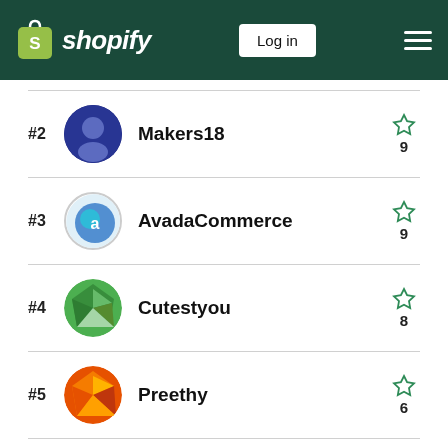shopify — Log in
#2 Makers18 — 9 stars
#3 AvadaCommerce — 9 stars
#4 Cutestyou — 8 stars
#5 Preethy — 6 stars
View all →